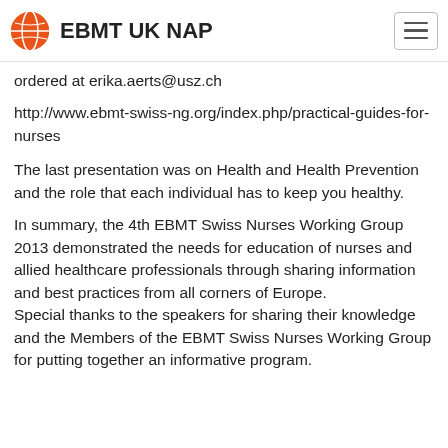EBMT UK NAP
ordered at erika.aerts@usz.ch
http://www.ebmt-swiss-ng.org/index.php/practical-guides-for-nurses
The last presentation was on Health and Health Prevention and the role that each individual has to keep you healthy.
In summary, the 4th EBMT Swiss Nurses Working Group 2013 demonstrated the needs for education of nurses and allied healthcare professionals through sharing information and best practices from all corners of Europe.
Special thanks to the speakers for sharing their knowledge and the Members of the EBMT Swiss Nurses Working Group for putting together an informative program.